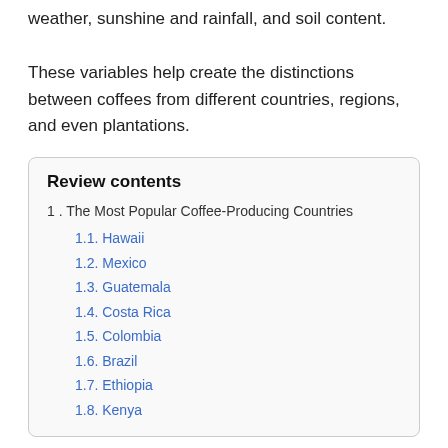weather, sunshine and rainfall, and soil content.
These variables help create the distinctions between coffees from different countries, regions, and even plantations.
Review contents
1. The Most Popular Coffee-Producing Countries
  1.1. Hawaii
  1.2. Mexico
  1.3. Guatemala
  1.4. Costa Rica
  1.5. Colombia
  1.6. Brazil
  1.7. Ethiopia
  1.8. Kenya
The Most Popular Coffee-Producing Countries